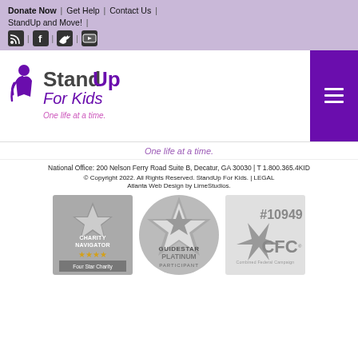Donate Now | Get Help | Contact Us |
StandUp and Move! |
[Figure (other): Social media icons: RSS, Facebook, Twitter, YouTube]
[Figure (logo): StandUp For Kids logo with tagline 'One life at a time.' and purple hamburger menu button]
One life at a time.
National Office: 200 Nelson Ferry Road Suite B, Decatur, GA 30030 | T 1.800.365.4KID
© Copyright 2022. All Rights Reserved. StandUp For Kids. | LEGAL
Atlanta Web Design by LimeStudios.
[Figure (logo): Charity Navigator Four Star Charity badge (grayscale)]
[Figure (logo): GuideStar Platinum Participant badge (grayscale)]
[Figure (logo): CFC #10949 Combined Federal Campaign badge (grayscale)]